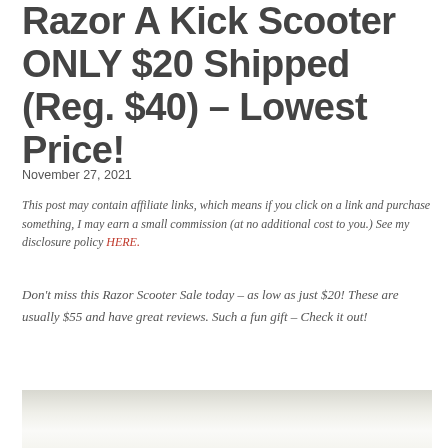Razor A Kick Scooter ONLY $20 Shipped (Reg. $40) – Lowest Price!
November 27, 2021
This post may contain affiliate links, which means if you click on a link and purchase something, I may earn a small commission (at no additional cost to you.) See my disclosure policy HERE.
Don't miss this Razor Scooter Sale today – as low as just $20! These are usually $55 and have great reviews. Such a fun gift – Check it out!
[Figure (photo): Partial view of a Razor A kick scooter, showing the handlebar and deck area on a white/light background]